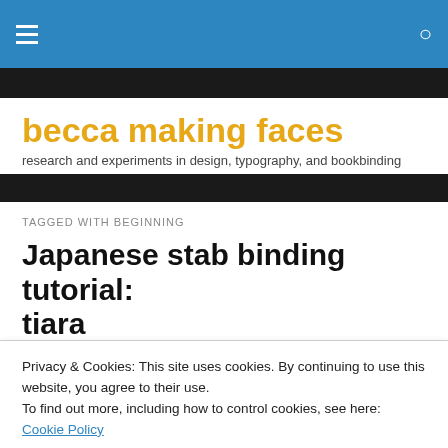becca making faces — navigation bar with hamburger menu and search icon
becca making faces
research and experiments in design, typography, and bookbinding
TAGGED WITH BEGINNING
Japanese stab binding tutorial: tiara
Privacy & Cookies: This site uses cookies. By continuing to use this website, you agree to their use.
To find out more, including how to control cookies, see here: Cookie Policy
Close and accept